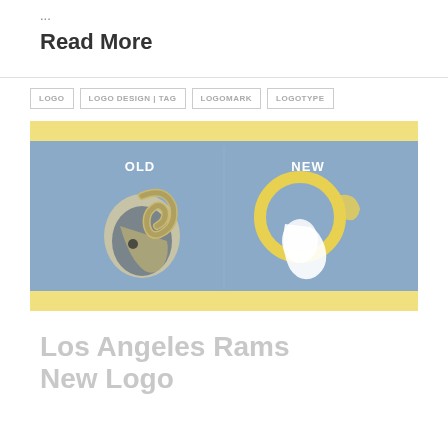...
Read More
LOGO
LOGO DESIGN | TAG
LOGOMARK
LOGOTYPE
[Figure (illustration): Los Angeles Rams logo comparison image showing OLD logo on left (detailed realistic ram head in dark navy and gold) and NEW logo on right (simplified stylized ram head in yellow/gold outline) on a light blue background with yellow stripe borders]
Los Angeles Rams New Logo